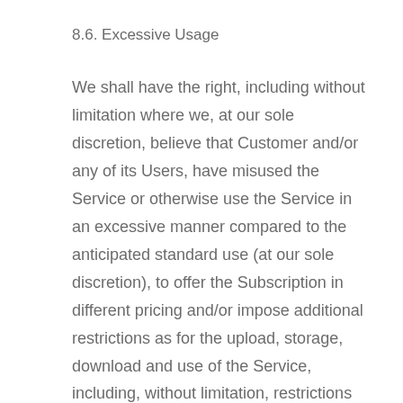8.6. Excessive Usage
We shall have the right, including without limitation where we, at our sole discretion, believe that Customer and/or any of its Users, have misused the Service or otherwise use the Service in an excessive manner compared to the anticipated standard use (at our sole discretion), to offer the Subscription in different pricing and/or impose additional restrictions as for the upload, storage, download and use of the Service, including, without limitation, restrictions on Third Party Services, network traffic and bandwidth, size and/or length of content, quality and/or format